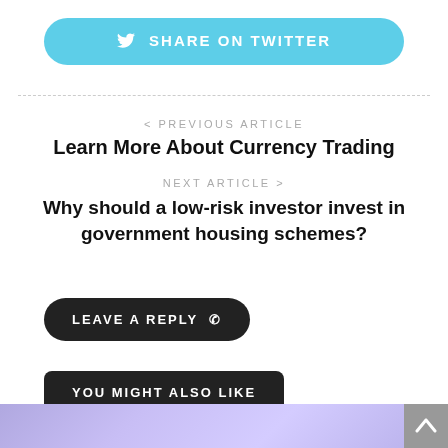[Figure (other): Share on Twitter button with Twitter bird icon, light blue rounded button]
< PREVIOUS ARTICLE
Learn More About Currency Trading
NEXT ARTICLE >
Why should a low-risk investor invest in government housing schemes?
LEAVE A REPLY
YOU MIGHT ALSO LIKE
[Figure (photo): Purple/blue blurred background image at the bottom of the page]